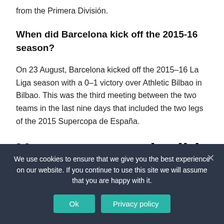from the Primera División.
When did Barcelona kick off the 2015-16 season?
On 23 August, Barcelona kicked off the 2015–16 La Liga season with a 0–1 victory over Athletic Bilbao in Bilbao. This was the third meeting between the two teams in the last nine days that included the two legs of the 2015 Supercopa de España.
How many goals did
We use cookies to ensure that we give you the best experience on our website. If you continue to use this site we will assume that you are happy with it.